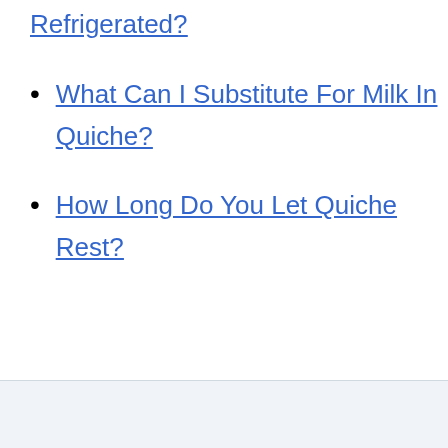Refrigerated?
What Can I Substitute For Milk In Quiche?
How Long Do You Let Quiche Rest?
#freeze
#quiche